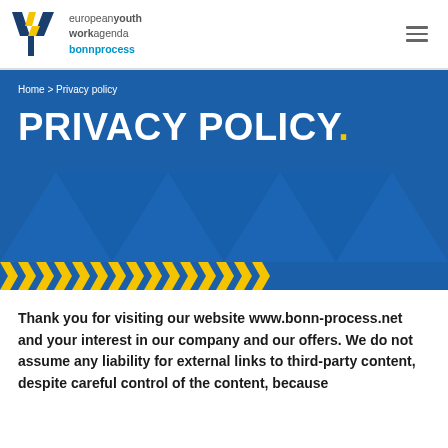[Figure (logo): European Youth Work Agenda Bonn Process logo with Y and W stylized letters in blue and yellow, followed by text 'european youth workagenda bonnprocess']
Home > Privacy policy
PRIVACY POLICY.
Thank you for visiting our website www.bonn-process.net and your interest in our company and our offers. We do not assume any liability for external links to third-party content, despite careful control of the content, because